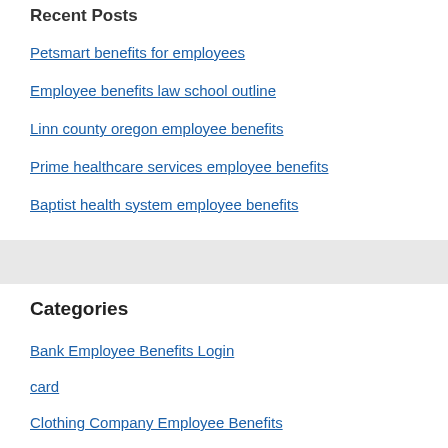Recent Posts
Petsmart benefits for employees
Employee benefits law school outline
Linn county oregon employee benefits
Prime healthcare services employee benefits
Baptist health system employee benefits
Categories
Bank Employee Benefits Login
card
Clothing Company Employee Benefits